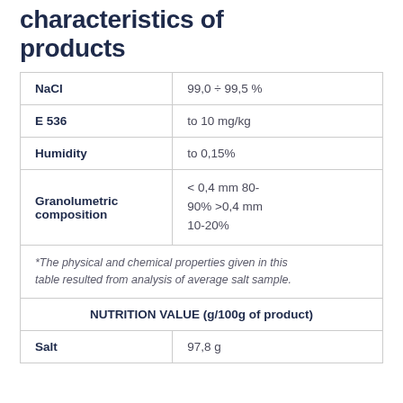characteristics of products
| NaCl | 99,0 ÷ 99,5 % |
| E 536 | to 10 mg/kg |
| Humidity | to 0,15% |
| Granolumetric composition | < 0,4 mm 80-90% >0,4 mm 10-20% |
| *The physical and chemical properties given in this table resulted from analysis of average salt sample. |  |
| NUTRITION VALUE (g/100g of product) |  |
| Salt | 97,8 g |